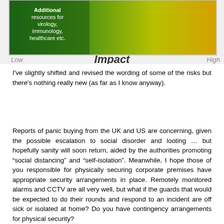[Figure (infographic): Risk matrix or impact chart with green to yellow-orange gradient background. Dark green area in upper left contains white text: 'Additional resources for virology, immunology, healthcare etc.' Lower left shows 'Low' label, lower right shows 'High' label. Bottom center shows 'Impact' in large italic dark text.]
I've slightly shifted and revised the wording of some of the risks but there's nothing really new (as far as I know anyway).
Reports of panic buying from the UK and US are concerning, given the possible escalation to social disorder and looting … but hopefully sanity will soon return, aided by the authorities promoting “social distancing” and “self-isolation”. Meanwhile, I hope those of you responsible for physically securing corporate premises have appropriate security arrangements in place. Remotely monitored alarms and CCTV are all very well, but what if the guards that would be expected to do their rounds and respond to an incident are off sick or isolated at home? Do you have contingency arrangements for physical security?